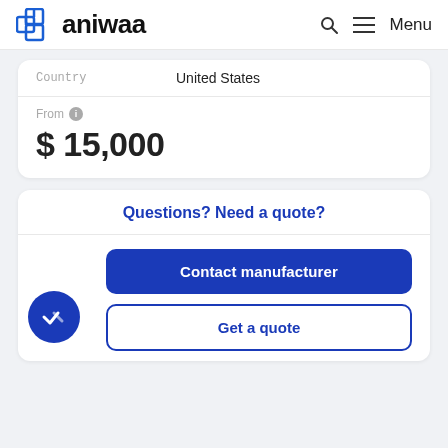aniwaa  [Search icon]  [Menu icon] Menu
| Field | Value |
| --- | --- |
| Country | United States |
From ℹ $ 15,000
Questions? Need a quote?
Contact manufacturer
Get a quote